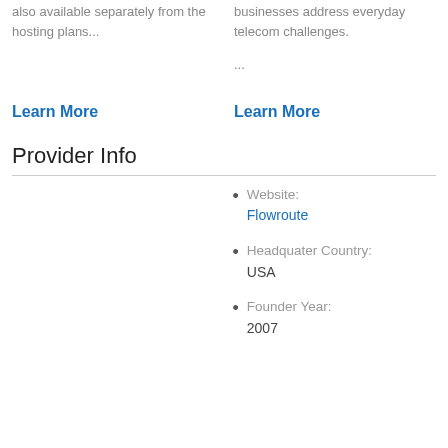also available separately from the hosting plans...
businesses address everyday telecom challenges.

...
Learn More
Learn More
Provider Info
Website: Flowroute
Headquater Country: USA
Founder Year: 2007